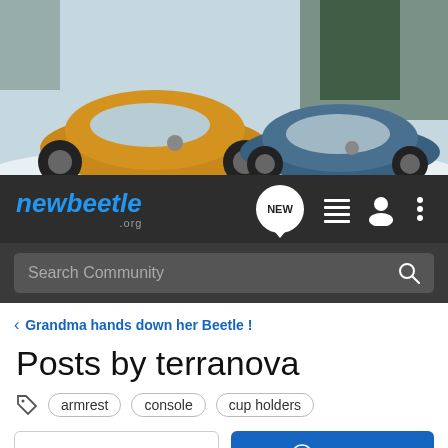[Figure (photo): Two Volkswagen Beetles parked outdoors in snow — a golden/orange one on the left and a blue one on the right]
[Figure (screenshot): newbeetle.org navigation bar with logo, NEW badge, list icon, user icon, and menu icon on dark background]
[Figure (screenshot): Search Community search bar on dark background]
< Grandma hands down her Beetle !
Posts by terranova
armrest   console   cup holders
→ Jump to Latest
+ Follow
1 - 1 of 1 Posts
terranova · Registered